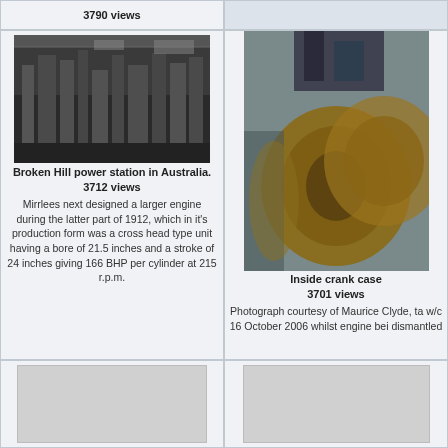3790 views
[Figure (photo): Black and white photograph of Broken Hill power station interior showing industrial machinery and engines in Australia]
Broken Hill power station in Australia.
3712 views
Mirrlees next designed a larger engine during the latter part of 1912, which in it's production form was a cross head type unit having a bore of 21.5 inches and a stroke of 24 inches giving 166 BHP per cylinder at 215 r.p.m.
[Figure (photo): Color photograph showing the inside of a crank case, large cylindrical metal components visible]
Inside crank case
3701 views
Photograph courtesy of Maurice Clyde, taken w/c 16 October 2006 whilst engine being dismantled
[Figure (photo): Placeholder image area bottom left]
[Figure (photo): Placeholder image area bottom right]